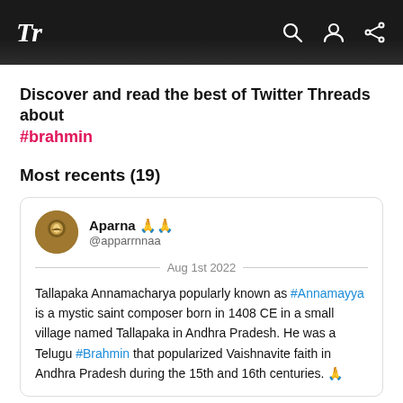Tr
Discover and read the best of Twitter Threads about #brahmin
Most recents (19)
Aparna 🙏🙏 @apparrnnaa Aug 1st 2022 Tallapaka Annamacharya popularly known as #Annamayya is a mystic saint composer born in 1408 CE in a small village named Tallapaka in Andhra Pradesh. He was a Telugu #Brahmin that popularized Vaishnavite faith in Andhra Pradesh during the 15th and 16th centuries. 🙏